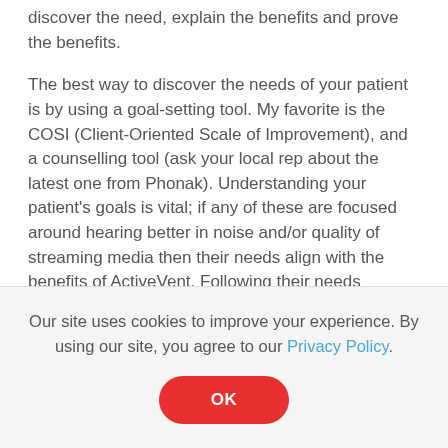discover the need, explain the benefits and prove the benefits.
The best way to discover the needs of your patient is by using a goal-setting tool. My favorite is the COSI (Client-Oriented Scale of Improvement), and a counselling tool (ask your local rep about the latest one from Phonak). Understanding your patient's goals is vital; if any of these are focused around hearing better in noise and/or quality of streaming media then their needs align with the benefits of ActiveVent. Following their needs assessment, test their hearing and if they have a mild to moderate hearing loss then bingo… you have a candidate!
Our site uses cookies to improve your experience. By using our site, you agree to our Privacy Policy.